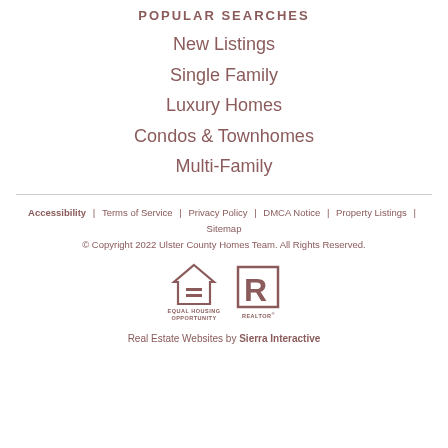POPULAR SEARCHES
New Listings
Single Family
Luxury Homes
Condos & Townhomes
Multi-Family
Accessibility | Terms of Service | Privacy Policy | DMCA Notice | Property Listings | Sitemap
© Copyright 2022 Ulster County Homes Team. All Rights Reserved.
Real Estate Websites by Sierra Interactive